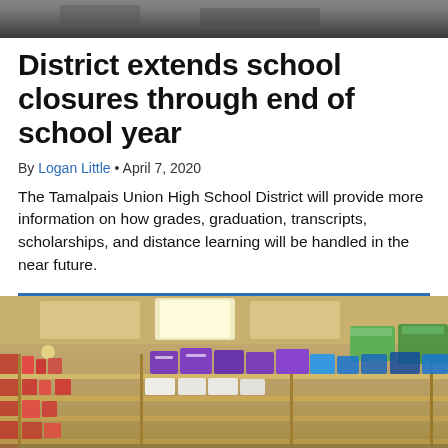[Figure (photo): Top portion of a photo, cropped — dark background showing part of an interior scene]
District extends school closures through end of school year
By Logan Little • April 7, 2020
The Tamalpais Union High School District will provide more information on how grades, graduation, transcripts, scholarships, and distance learning will be handled in the near future.
[Figure (photo): Interior photo of a store or pharmacy with shelves stocked with products including purple-packaged items, lit by overhead fluorescent lights]